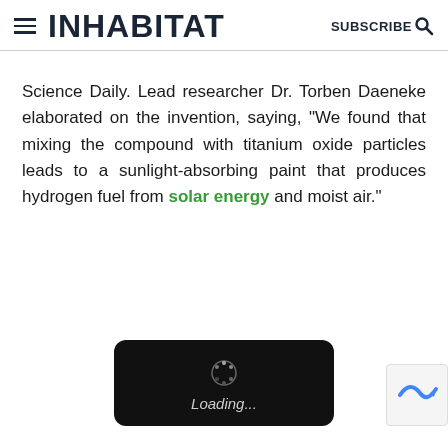INHABITAT  SUBSCRIBE
Science Daily. Lead researcher Dr. Torben Daeneke elaborated on the invention, saying, “We found that mixing the compound with titanium oxide particles leads to a sunlight-absorbing paint that produces hydrogen fuel from solar energy and moist air.”